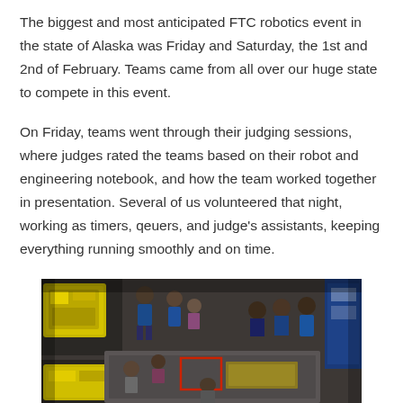The biggest and most anticipated FTC robotics event in the state of Alaska was Friday and Saturday, the 1st and 2nd of February. Teams came from all over our huge state to compete in this event.
On Friday, teams went through their judging sessions, where judges rated the teams based on their robot and engineering notebook, and how the team worked together in presentation. Several of us volunteered that night, working as timers, qeuers, and judge's assistants, keeping everything running smoothly and on time.
[Figure (photo): Overhead/aerial view of a robotics competition event floor showing participants in blue shirts, a yellow robot, a competition field mat with red markings, and various people gathered around watching or participating.]